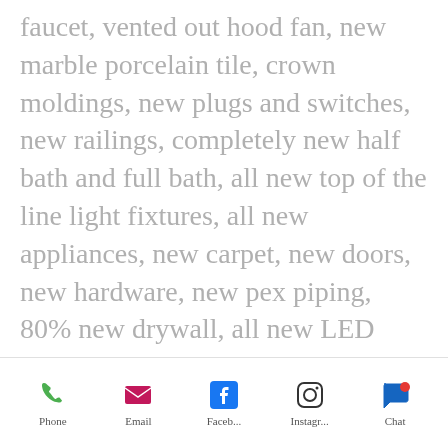faucet, vented out hood fan, new marble porcelain tile, crown moldings, new plugs and switches, new railings, completely new half bath and full bath, all new top of the line light fixtures, all new appliances, new carpet, new doors, new hardware, new pex piping, 80% new drywall, all new LED lighting, new fuse box, new waterfall sink, new plants with weed blocker and tarp spacer, brick pavers all the way around the house, top of the line garage lanterns, Anderson
Phone | Email | Faceb... | Instagr... | Chat